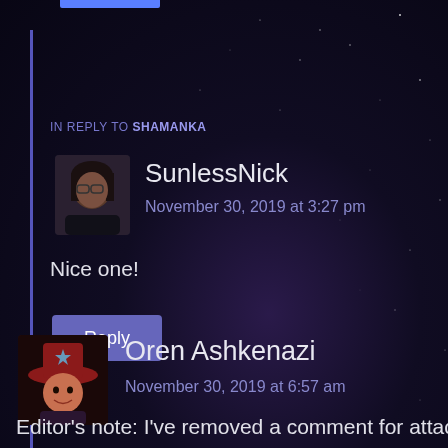IN REPLY TO SHAMANKA
SunlessNick
November 30, 2019 at 3:27 pm
Nice one!
Reply
[Figure (photo): Avatar photo of SunlessNick - woman with glasses and dark hair]
Oren Ashkenazi
November 30, 2019 at 6:57 am
[Figure (illustration): Avatar illustration of Oren Ashkenazi - cartoon character with red hat]
Editor's note: I've removed a comment for attacking